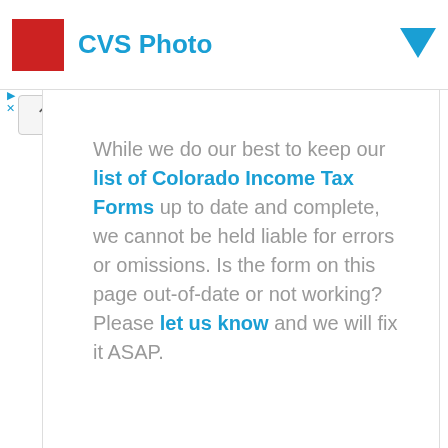[Figure (screenshot): CVS Photo advertisement banner with red image placeholder, blue CVS Photo text, and blue dropdown arrow]
While we do our best to keep our list of Colorado Income Tax Forms up to date and complete, we cannot be held liable for errors or omissions. Is the form on this page out-of-date or not working? Please let us know and we will fix it ASAP.